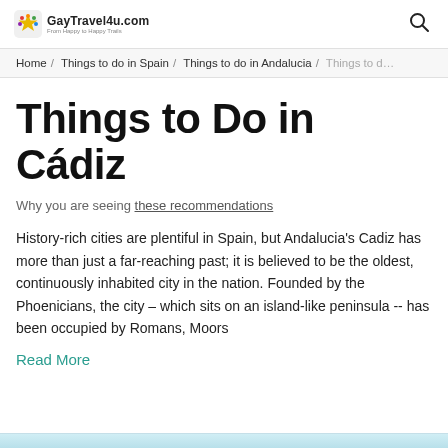GayTravel4u.com
Home / Things to do in Spain / Things to do in Andalucia / Things to d…
Things to Do in Cádiz
Why you are seeing these recommendations
History-rich cities are plentiful in Spain, but Andalucia's Cadiz has more than just a far-reaching past; it is believed to be the oldest, continuously inhabited city in the nation. Founded by the Phoenicians, the city – which sits on an island-like peninsula -- has been occupied by Romans, Moors
Read More